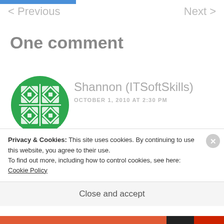< Previous   Next >
One comment
[Figure (illustration): Green circular avatar with cross/windmill pattern in white, belonging to commenter Shannon (ITSoftSkills)]
Shannon (ITSoftSkills)
OCTOBER 1, 2010 AT 2:30 PM
I too have found the best way to
Privacy & Cookies: This site uses cookies. By continuing to use this website, you agree to their use.
To find out more, including how to control cookies, see here: Cookie Policy
Close and accept